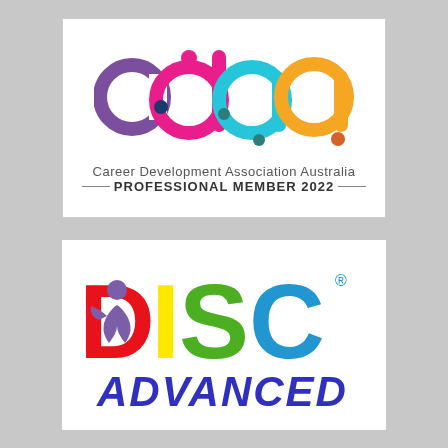[Figure (logo): CDAA (Career Development Association Australia) logo with colourful overlapping circles forming the letters cdaa, with text 'Career Development Association Australia' and 'PROFESSIONAL MEMBER 2022' below]
[Figure (logo): DISC Advanced logo with large colourful block letters D (red), I (yellow), S (green), C (blue) with a figure/person motif inside the D, and 'ADVANCED' in purple/blue italic text below]